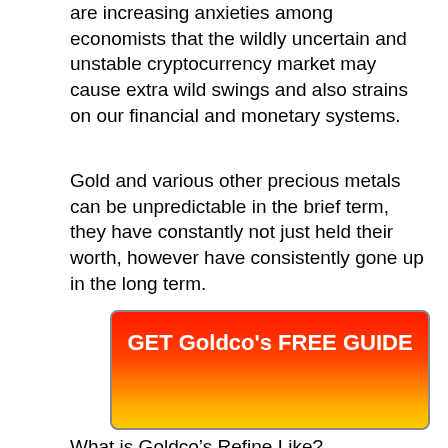are increasing anxieties among economists that the wildly uncertain and unstable cryptocurrency market may cause extra wild swings and also strains on our financial and monetary systems.
Gold and various other precious metals can be unpredictable in the brief term, they have constantly not just held their worth, however have consistently gone up in the long term.
[Figure (other): Red and yellow gradient button with bold white text reading 'GET Goldco's FREE GUIDE']
What is Goldco’s Refine Like?
“ From Goldco’s website, we entered our